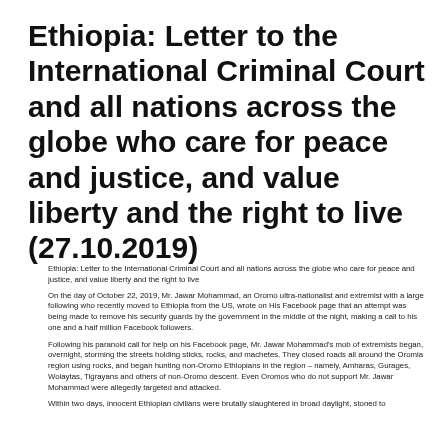Ethiopia: Letter to the International Criminal Court and all nations across the globe who care for peace and justice, and value liberty and the right to live (27.10.2019)
Ethiopia: Letter to the International Criminal Court and all nations across the globe who care for peace and justice, and value liberty and the right to live
On the day of October 22, 2019, Mr. Jawar Mohammad, an Oromo ultra-nationalist and extremist with a large following who recently moved to Ethiopia from the US, wrote on His Facebook page that an attempt was being made to remove his security guards by the government in the middle of the night, making a call to his one and a half million Facebook followers.
Following his paranoid call for help on his Facebook page, Mr. Jawar Mohammad's mob of extremists began, overnight, storming the streets holding sticks, rocks, and machetes. They closed roads all around the Oromia region using rocks, and began hunting non-Oromo Ethiopians in the region – namely, Amharas, Gurages, Wolaytas, Tigrayans and others of non-Oromo descent. Even Oromos who do not support Mr. Jawar Mohammad were allegedly targeted and attacked.
Within two days, innocent Ethiopian civilians were brutally slaughtered in broad daylight, stoned to